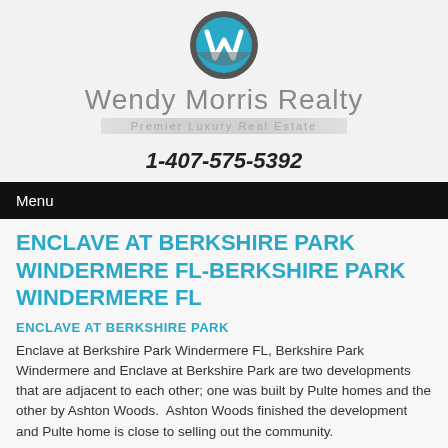[Figure (logo): Wendy Morris Realty logo with blue and grey circular W emblem, company name in grey, and 'Premier Luxury Real Estate' tagline on a grey banner]
1-407-575-5392
Menu
ENCLAVE AT BERKSHIRE PARK WINDERMERE FL-BERKSHIRE PARK WINDERMERE FL
ENCLAVE AT BERKSHIRE PARK
Enclave at Berkshire Park Windermere FL, Berkshire Park Windermere and Enclave at Berkshire Park are two developments that are adjacent to each other; one was built by Pulte homes and the other by Ashton Woods.  Ashton Woods finished the development and Pulte home is close to selling out the community.